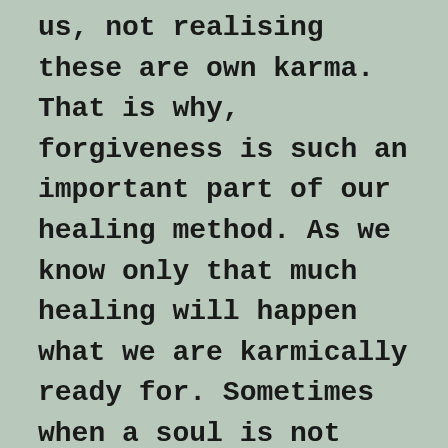us, not realising these are own karma. That is why, forgiveness is such an important part of our healing method. As we know only that much healing will happen what we are karmically ready for. Sometimes when a soul is not remorseful, or unwilling to move towards light, healing gets hampered.
Patience and faith is required in such cases, elements surface when it is their time to heal. We as healer can only pray, that the person has adequate good karma.
No wonder sometimes after one or two healing